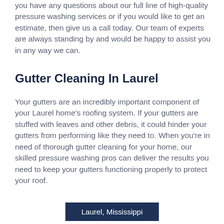you have any questions about our full line of high-quality pressure washing services or if you would like to get an estimate, then give us a call today. Our team of experts are always standing by and would be happy to assist you in any way we can.
Gutter Cleaning In Laurel
Your gutters are an incredibly important component of your Laurel home's roofing system. If your gutters are stuffed with leaves and other debris, it could hinder your gutters from performing like they need to. When you're in need of thorough gutter cleaning for your home, our skilled pressure washing pros can deliver the results you need to keep your gutters functioning properly to protect your roof.
Laurel, Mississippi